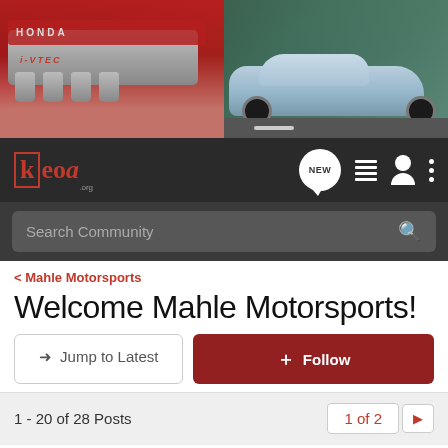[Figure (screenshot): Website banner with two images: left side shows a red Honda VTEC engine, right side shows a silver Honda Civic Type R driving on a road]
[Figure (screenshot): Navigation bar with keo.org logo in red on dark background, NEW chat bubble icon, list icon, user icon, and three-dots menu icon]
Search Community
< Mahle Motorsports
Welcome Mahle Motorsports!
→ Jump to Latest
+ Follow
1 - 20 of 28 Posts
1 of 2
Admin · Administrator 🇺🇸